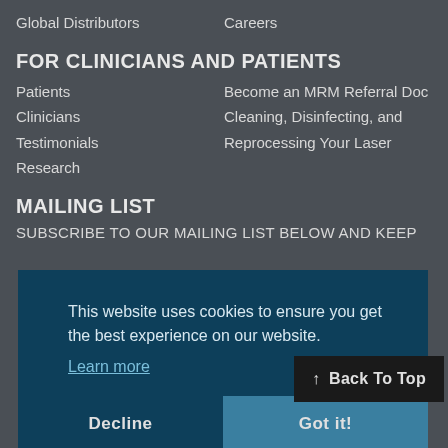Global Distributors
Careers
FOR CLINICIANS AND PATIENTS
Patients
Become an MRM Referral Doc
Clinicians
Cleaning, Disinfecting, and
Testimonials
Reprocessing Your Laser
Research
MAILING LIST
SUBSCRIBE TO OUR MAILING LIST BELOW AND KEEP
This website uses cookies to ensure you get the best experience on our website.
Learn more
Decline
Got it!
Back To Top